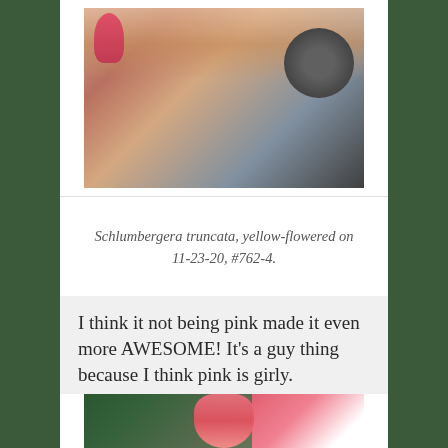[Figure (photo): Photo of a Schlumbergera truncata with yellow flowers near a window, with a dark pot visible on the right side]
Schlumbergera truncata, yellow-flowered on 11-23-20, #762-4.
I think it not being pink made it even more AWESOME! It's a guy thing because I think pink is girly.
[Figure (photo): Photo of a Schlumbergera (Christmas cactus) with pink/red flowers against green foliage]